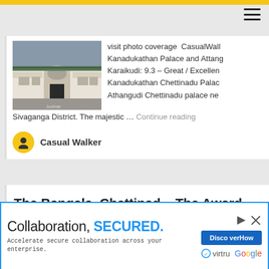[Figure (screenshot): Web page screenshot showing a travel blog about Kanadukathan Palace and Chettinadu region with content cards and an advertisement banner]
visit photo coverage CasualWalk Kanadukathan Palace and Attangudi Karaikudi: 9.3 – Great / Excellent Kanadukathan Chettinadu Palace Athangudi Chettinadu palace near Sivaganga District. The majestic …
Continue reading
Casual Walker
The Bangala, Chettinad – The Award-
Collaboration, SECURED. Accelerate secure collaboration across your enterprise. Discover How virtru Google